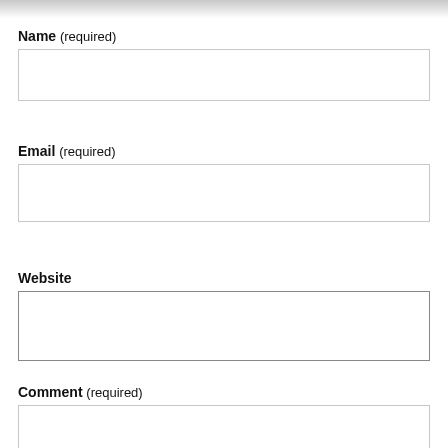Name (required)
[Figure (other): Empty text input field for Name]
Email (required)
[Figure (other): Empty text input field for Email]
Website
[Figure (other): Empty text input field for Website]
Comment (required)
[Figure (other): Empty text input field for Comment]